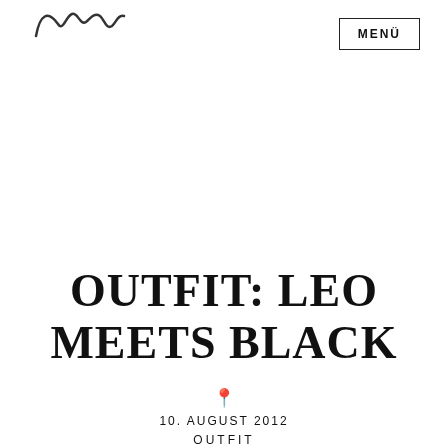MENÜ
OUTFIT: LEO MEETS BLACK
10. AUGUST 2012
OUTFIT